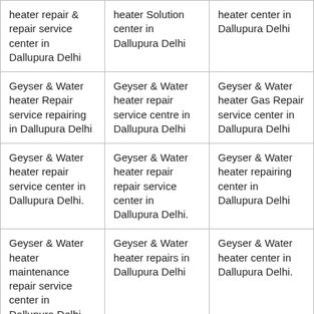| heater repair & repair service center in Dallupura Delhi | heater Solution center in Dallupura Delhi | heater center in Dallupura Delhi |
| Geyser & Water heater Repair service repairing in Dallupura Delhi | Geyser & Water heater repair service centre in Dallupura Delhi | Geyser & Water heater Gas Repair service center in Dallupura Delhi |
| Geyser & Water heater repair service center in Dallupura Delhi. | Geyser & Water heater repair repair service center in Dallupura Delhi. | Geyser & Water heater repairing center in Dallupura Delhi |
| Geyser & Water heater maintenance repair service center in Dallupura Delhi. | Geyser & Water heater repairs in Dallupura Delhi | Geyser & Water heater center in Dallupura Delhi. |
| Geyser & Water heater repair services in Dallupura |  |  |